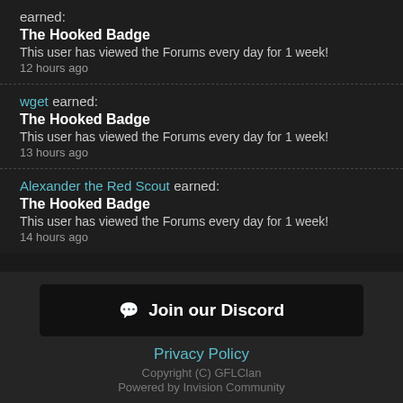earned: The Hooked Badge
This user has viewed the Forums every day for 1 week!
12 hours ago
wget earned: The Hooked Badge
This user has viewed the Forums every day for 1 week!
13 hours ago
Alexander the Red Scout earned: The Hooked Badge
This user has viewed the Forums every day for 1 week!
14 hours ago
Join our Discord
Privacy Policy
Copyright (C) GFLClan
Powered by Invision Community